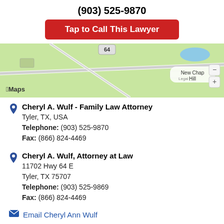(903) 525-9870
Tap to Call This Lawyer
[Figure (map): Apple Maps screenshot showing road map near New Chapel Hill, Tyler TX area with highway 64 visible]
Cheryl A. Wulf - Family Law Attorney
Tyler, TX, USA
Telephone: (903) 525-9870
Fax: (866) 824-4469
Cheryl A. Wulf, Attorney at Law
11702 Hwy 64 E
Tyler, TX 75707
Telephone: (903) 525-9869
Fax: (866) 824-4469
Email Cheryl Ann Wulf